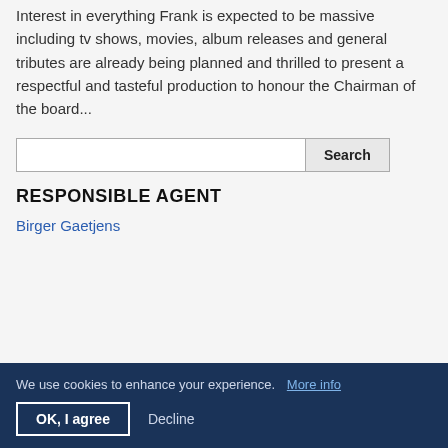Interest in everything Frank is expected to be massive including tv shows, movies, album releases and general tributes are already being planned and thrilled to present a respectful and tasteful production to honour the Chairman of the board...
RESPONSIBLE AGENT
Birger Gaetjens
We use cookies to enhance your experience. More info
OK, I agree   Decline